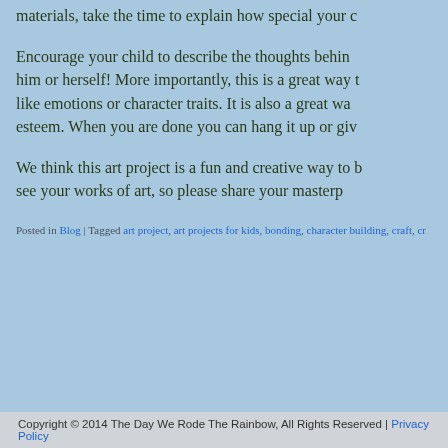materials, take the time to explain how special your c
Encourage your child to describe the thoughts behind him or herself! More importantly, this is a great way to like emotions or character traits. It is also a great wa esteem. When you are done you can hang it up or giv
We think this art project is a fun and creative way to b see your works of art, so please share your masterp
Posted in Blog | Tagged art project, art projects for kids, bonding, character building, craft, cr
Copyright © 2014 The Day We Rode The Rainbow, All Rights Reserved | Privacy Policy